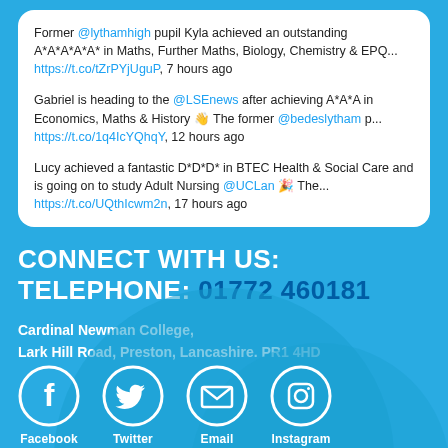Former @lythamhigh pupil Kyla achieved an outstanding A*A*A*A*A* in Maths, Further Maths, Biology, Chemistry & EPQ... https://t.co/tZrPYjUguP, 7 hours ago
Gabriel is heading to the @LSEnews after achieving A*A*A in Economics, Maths & History 👋 The former @bedeslytham p... https://t.co/1q4IcYQhqY, 12 hours ago
Lucy achieved a fantastic D*D*D* in BTEC Health & Social Care and is going on to study Adult Nursing @UCLan 🎉 The... https://t.co/UQthIcwm2n, 17 hours ago
CONNECT WITH US:
TELEPHONE: 01772 460181
Cardinal Newman College,
Lark Hill Road, Preston, Lancashire. PR1 4HD
[Figure (infographic): Four social media icon circles: Facebook, Twitter, Email, Instagram with labels beneath]